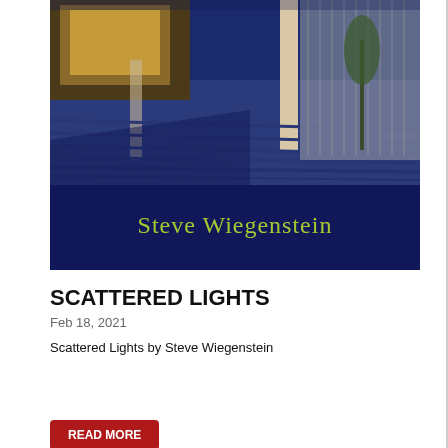[Figure (photo): Book cover for 'Scattered Lights' by Steve Wiegenstein showing a porch/deck scene with blue shadows and the author's name in yellow-green text overlaid on the image.]
SCATTERED LIGHTS
Feb 18, 2021
Scattered Lights by Steve Wiegenstein